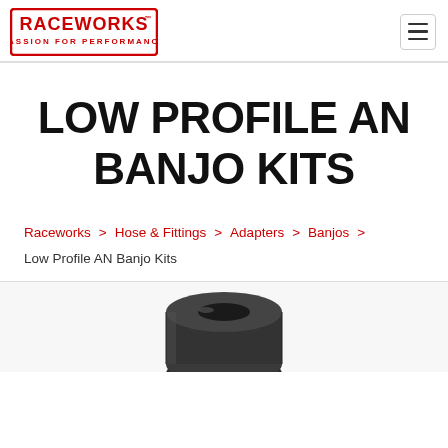[Figure (logo): Raceworks logo - red rectangular border with RACEWORKS text and PASSION FOR PERFORMANCE tagline]
LOW PROFILE AN BANJO KITS
Raceworks > Hose & Fittings > Adapters > Banjos > Low Profile AN Banjo Kits
[Figure (photo): Partial view of a metal low profile AN banjo fitting, dark/gunmetal color, shown from above]